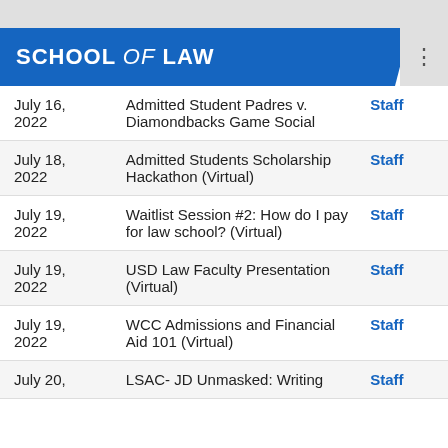School of Law
SCHOOL of LAW
| Date | Event |  |
| --- | --- | --- |
| July 16, 2022 | Admitted Student Padres v. Diamondbacks Game Social | Staff |
| July 18, 2022 | Admitted Students Scholarship Hackathon (Virtual) | Staff |
| July 19, 2022 | Waitlist Session #2: How do I pay for law school? (Virtual) | Staff |
| July 19, 2022 | USD Law Faculty Presentation (Virtual) | Staff |
| July 19, 2022 | WCC Admissions and Financial Aid 101 (Virtual) | Staff |
| July 20, | LSAC- JD Unmasked: Writing | Staff |